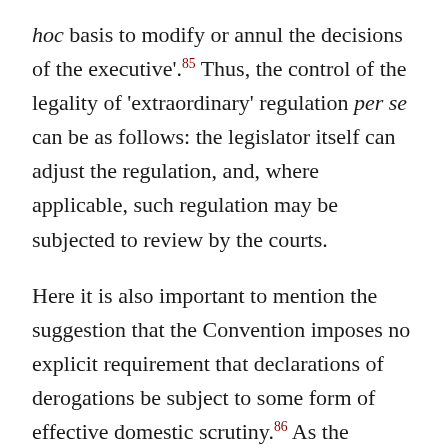hoc basis to modify or annul the decisions of the executive'.85 Thus, the control of the legality of 'extraordinary' regulation per se can be as follows: the legislator itself can adjust the regulation, and, where applicable, such regulation may be subjected to review by the courts.
Here it is also important to mention the suggestion that the Convention imposes no explicit requirement that declarations of derogations be subject to some form of effective domestic scrutiny.86 As the Council of Europe Commissioner for Human Rights has pointed out, 'the requirement is, however, easily discerned'.87 It is common ground that even in an emergency situation, the rule of law must prevail.88 According to